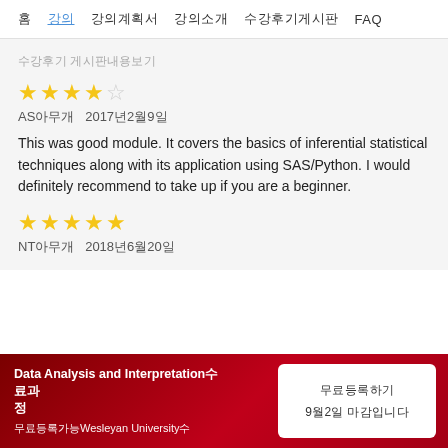홈  강의  강의계획서  강의소개  수강후기게시판  FAQ
수강후기 게시판내용보기
★★★★☆
AS아무개  2017년2월9일
This was good module. It covers the basics of inferential statistical techniques along with its application using SAS/Python. I would definitely recommend to take up if you are a beginner.
★★★★★
NT아무개  2018년6월20일
Data Analysis and Interpretation수료
여러분의
무료등록가능Wesleyan University수
무료등록하기
9월2일 마감입니다